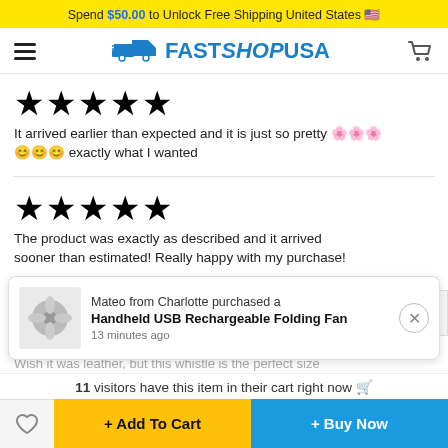Spend $50.00 to Unlock Free Shipping United States 🇺🇸
[Figure (logo): FastShopUSA logo with delivery truck icon, hamburger menu, and cart icon navigation bar]
[Figure (other): 5 black stars rating]
It arrived earlier than expected and it is just so pretty 🌸🌸🌸😊😊😊 exactly what I wanted
[Figure (other): 5 black stars rating]
The product was exactly as described and it arrived sooner than estimated! Really happy with my purchase!
[Figure (other): Popup notification: Mateo from Charlotte purchased a Handheld USB Rechargeable Folding Fan, 13 minutes ago, with product image thumbnail]
Wish it was leather, but this whistle is the perfect size for...
11 visitors have this item in their cart right now 🛒
+ Add To Cart
+ Buy Now